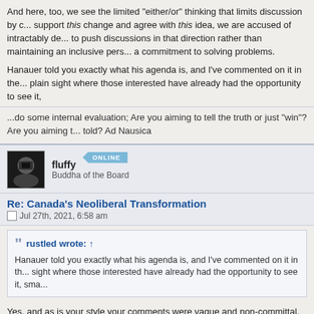And here, too, we see the limited "either/or" thinking that limits discussion by c... support this change and agree with this idea, we are accused of intractably de... to push discussions in that direction rather than maintaining an inclusive pers... a commitment to solving problems.
Hanauer told you exactly what his agenda is, and I've commented on it in the... plain sight where those interested have already had the opportunity to see it,
...do some internal evaluation; Are you aiming to tell the truth or just "win"? Are you aiming t... told? Ad Nausica
fluffy
Buddha of the Board
Re: Canada's Neoliberal Transformation
Jul 27th, 2021, 6:58 am
rustled wrote: ↑
Hanauer told you exactly what his agenda is, and I've commented on it in th... sight where those interested have already had the opportunity to see it, sma...
Yes, and as is your style your comments were vague and non-committal. I'm n